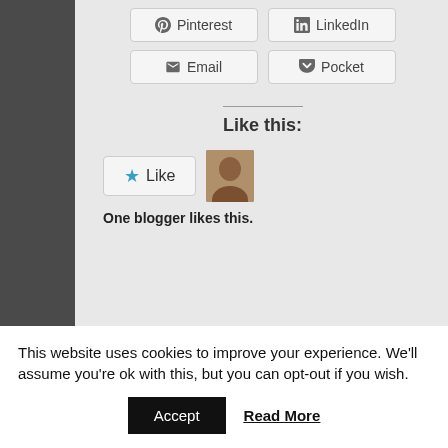[Figure (screenshot): Share buttons for Pinterest, LinkedIn, Email, and Pocket social sharing options]
Like this:
[Figure (screenshot): Like button with star icon and a blogger avatar. Text below reads: One blogger likes this.]
One blogger likes this.
This website uses cookies to improve your experience. We'll assume you're ok with this, but you can opt-out if you wish.
Accept
Read More